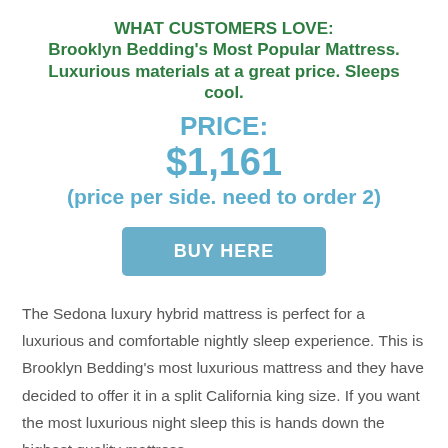WHAT CUSTOMERS LOVE: Brooklyn Bedding's Most Popular Mattress. Luxurious materials at a great price. Sleeps cool.
PRICE: $1,161 (price per side. need to order 2)
BUY HERE
The Sedona luxury hybrid mattress is perfect for a luxurious and comfortable nightly sleep experience. This is Brooklyn Bedding's most luxurious mattress and they have decided to offer it in a split California king size. If you want the most luxurious night sleep this is hands down the highest quality mattress